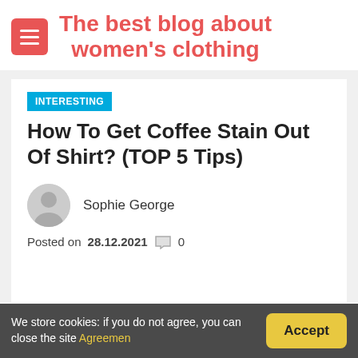The best blog about women's clothing
INTERESTING
How To Get Coffee Stain Out Of Shirt? (TOP 5 Tips)
Sophie George
Posted on 28.12.2021  0
We store cookies: if you do not agree, you can close the site Agreemen